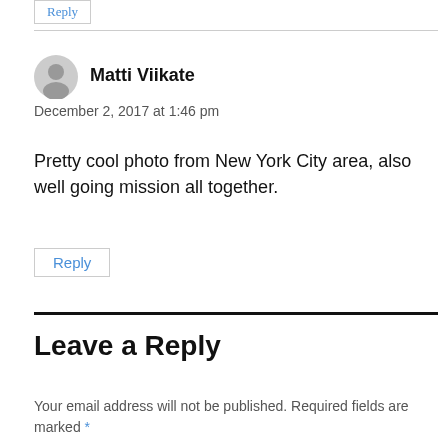Reply
Matti Viikate
December 2, 2017 at 1:46 pm
Pretty cool photo from New York City area, also well going mission all together.
Reply
Leave a Reply
Your email address will not be published. Required fields are marked *